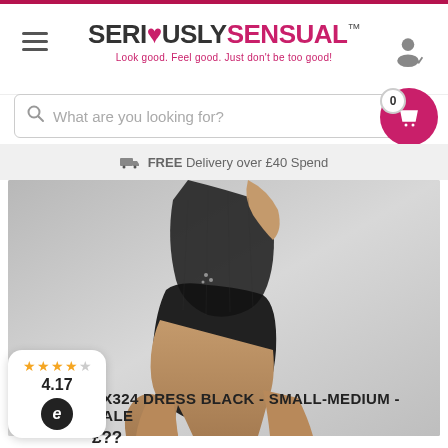SERIOUSLYSENSUAL™ — Look good. Feel good. Just don't be too good!
What are you looking for?
FREE Delivery over £40 Spend
[Figure (photo): Woman wearing a black mesh and wet-look mini dress, cropped torso and legs view against grey background]
4.17
YX324 DRESS BLACK - SMALL-MEDIUM - SALE